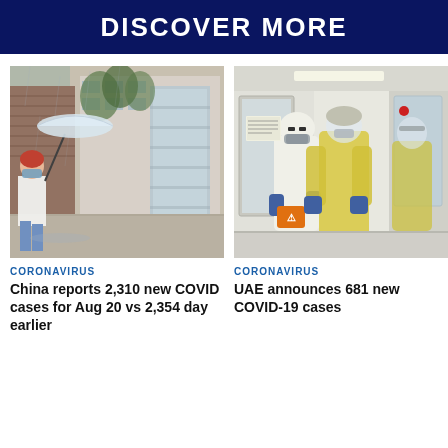DISCOVER MORE
[Figure (photo): Person wearing face mask holding a clear umbrella walking on a rainy street with a modern building in background]
CORONAVIRUS
China reports 2,310 new COVID cases for Aug 20 vs 2,354 day earlier
[Figure (photo): Medical workers in full PPE protective gear (white suits, yellow gowns, face shields, blue gloves) handling biohazard specimens in a medical facility corridor]
CORONAVIRUS
UAE announces 681 new COVID-19 cases